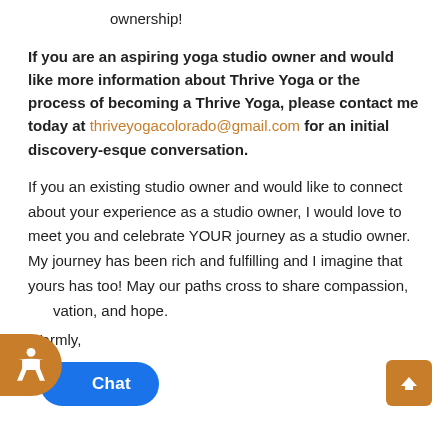ownership!
If you are an aspiring yoga studio owner and would like more information about Thrive Yoga or the process of becoming a Thrive Yoga, please contact me today at thriveyogacolorado@gmail.com for an initial discovery-esque conversation.
If you an existing studio owner and would like to connect about your experience as a studio owner, I would love to meet you and celebrate YOUR journey as a studio owner. My journey has been rich and fulfilling and I imagine that yours has too! May our paths cross to share compassion, [insp]vation, and hope.
Warmly,